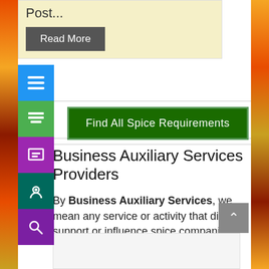Post...
Read More
[Figure (screenshot): Find All Spice Requirements green button]
Business Auxiliary Services Providers
By Business Auxiliary Services, we mean any service or activity that directly support or influence spice companies.